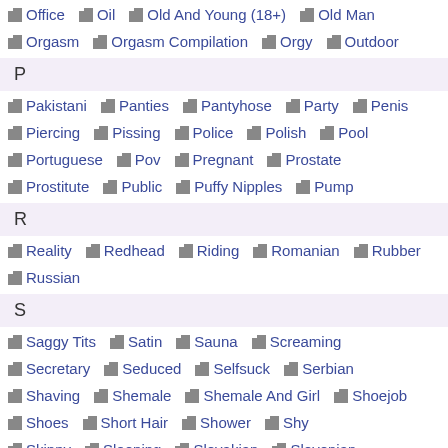Office, Oil, Old And Young (18+), Old Man
Orgasm, Orgasm Compilation, Orgy, Outdoor
P
Pakistani, Panties, Pantyhose, Party, Penis
Piercing, Pissing, Police, Polish, Pool
Portuguese, Pov, Pregnant, Prostate
Prostitute, Public, Puffy Nipples, Pump
R
Reality, Redhead, Riding, Romanian, Rubber
Russian
S
Saggy Tits, Satin, Sauna, Screaming
Secretary, Seduced, Selfsuck, Serbian
Shaving, Shemale, Shemale And Girl, Shoejob
Shoes, Short Hair, Shower, Shy
Skinny, Sleeping, Slovakian, Slovenian